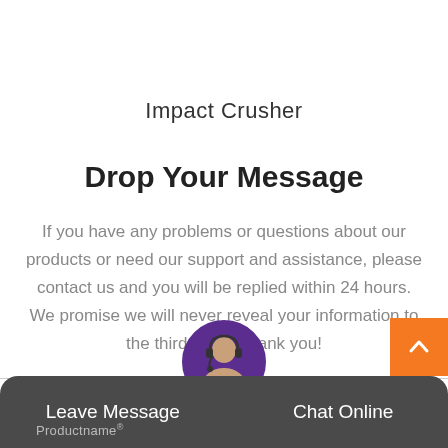Impact Crusher
Drop Your Message
If you have any problems or questions about our products or need our support and assistance, please contact us and you will be replied within 24 hours. We promise we will never reveal your information to the third party. Thank you!
Leave Message  Chat Online